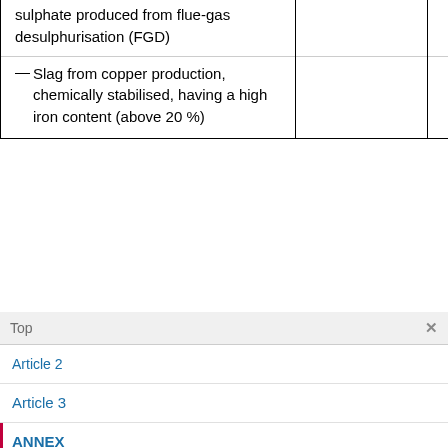| Description |  |  |
| --- | --- | --- |
| sulphate produced from flue-gas desulphurisation (FGD) |  |  |
| —Slag from copper production, chemically stabilised, having a high iron content (above 20 %) |  |  |
Top
Article 2
Article 3
ANNEX